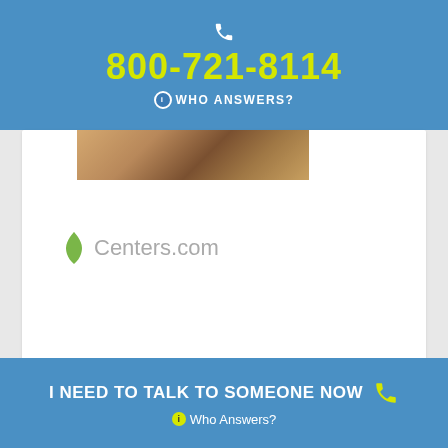800-721-8114 WHO ANSWERS?
[Figure (screenshot): Partial photo/image strip visible at top of white card]
Centers.com
Alcohol
Select ....
I NEED TO TALK TO SOMEONE NOW  Who Answers?